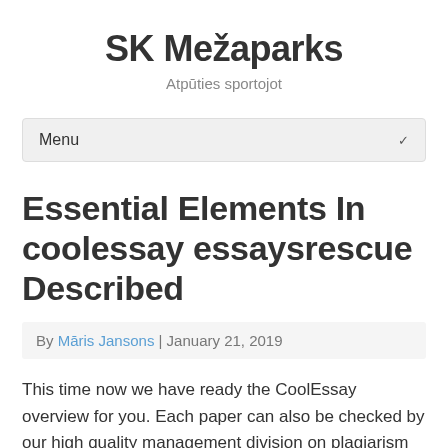SK Mežaparks
Atpūties sportojot
Menu
Essential Elements In coolessay essaysrescue Described
By Māris Jansons | January 21, 2019
This time now we have ready the CoolEssay overview for you. Each paper can also be checked by our high quality management division on plagiarism before it is despatched